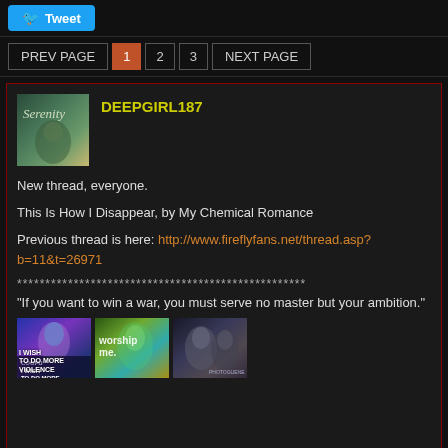Tweet
PREV PAGE  1  2  3  NEXT PAGE
DEEPGIRL187
New thread, everyone.
This Is How I Disappear, by My Chemical Romance
Previous thread is here: http://www.fireflyfans.net/thread.asp?b=11&t=26971
***************************************************
"If you want to win a war, you must serve no master but your ambition."
[Figure (photo): Three signature images: first shows a woman with blue/purple hair with text 'I WISH TO DO MORE VIOLENCE'; second shows a woman with teal hair with text 'worship me.'; third shows a dark moody portrait of a woman]